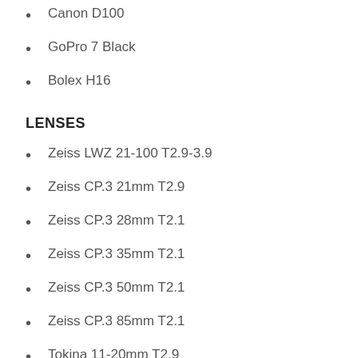Canon D100
GoPro 7 Black
Bolex H16
LENSES
Zeiss LWZ 21-100 T2.9-3.9
Zeiss CP.3 21mm T2.9
Zeiss CP.3 28mm T2.1
Zeiss CP.3 35mm T2.1
Zeiss CP.3 50mm T2.1
Zeiss CP.3 85mm T2.1
Tokina 11-20mm T2.9
Canon 17-40mm f4
Canon 24-70mm f2.8
Canon 24-105mm f4
Canon 70-200mm f2.8 IS